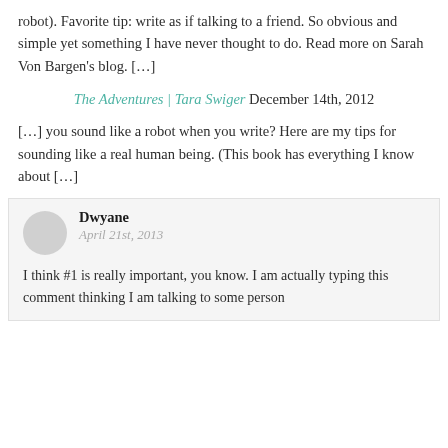robot). Favorite tip: write as if talking to a friend. So obvious and simple yet something I have never thought to do. Read more on Sarah Von Bargen's blog. […]
The Adventures | Tara Swiger December 14th, 2012
[…] you sound like a robot when you write? Here are my tips for sounding like a real human being. (This book has everything I know about […]
Dwyane
April 21st, 2013
I think #1 is really important, you know. I am actually typing this comment thinking I am talking to some person